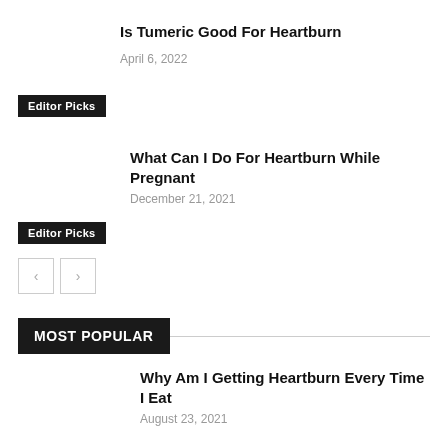Is Tumeric Good For Heartburn
April 6, 2022
Editor Picks
What Can I Do For Heartburn While Pregnant
December 21, 2021
Editor Picks
MOST POPULAR
Why Am I Getting Heartburn Every Time I Eat
August 23, 2021